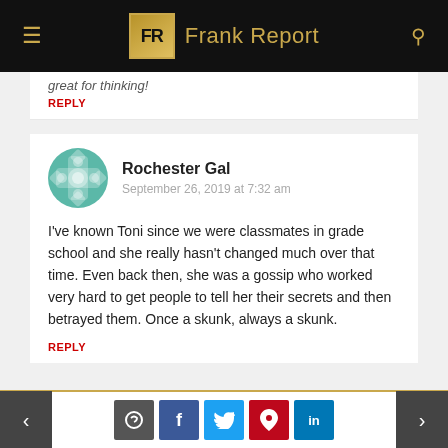Frank Report
great for thinking!
REPLY
Rochester Gal
September 26, 2019 at 7:32 am
I've known Toni since we were classmates in grade school and she really hasn't changed much over that time. Even back then, she was a gossip who worked very hard to get people to tell her their secrets and then betrayed them. Once a skunk, always a skunk.
REPLY